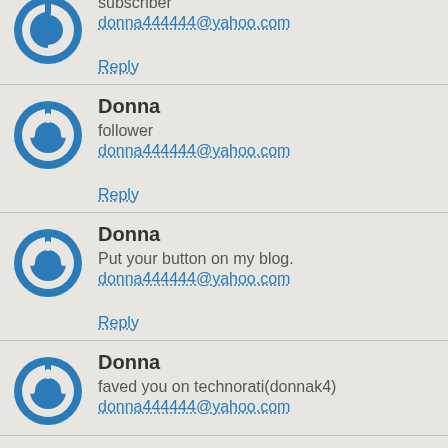subscriber
donna444444@yahoo.com
Reply
Donna
follower
donna444444@yahoo.com
Reply
Donna
Put your button on my blog.
donna444444@yahoo.com
Reply
Donna
faved you on technorati(donnak4)
donna444444@yahoo.com